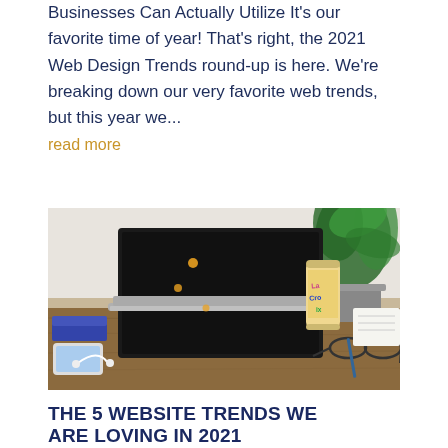Businesses Can Actually Utilize It's our favorite time of year! That's right, the 2021 Web Design Trends round-up is here. We're breaking down our very favorite web trends, but this year we...
read more
[Figure (photo): A laptop with a dark screen open on a wooden desk, with a La Croix sparkling water can, eyeglasses, a notebook, a pen, a phone, and a potted green plant in the background.]
THE 5 WEBSITE TRENDS WE ARE LOVING IN 2021